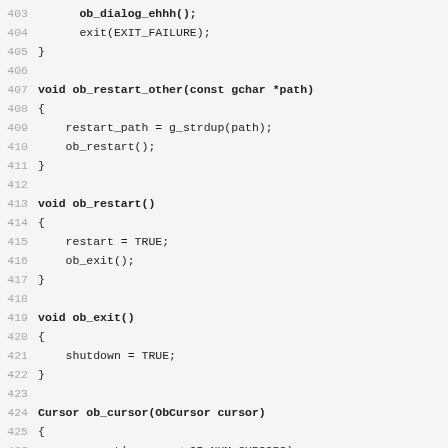Code listing lines 403–435: C source code for openbox window manager functions ob_restart_other, ob_restart, ob_exit, ob_cursor, ob_keycode
[Figure (screenshot): C source code snippet showing functions ob_restart_other, ob_restart, ob_exit, ob_cursor, and ob_keycode with line numbers 403-435]